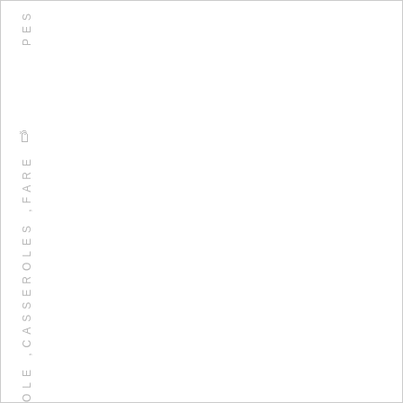PES
CASSEROLE ,CASSEROLES ,FARE